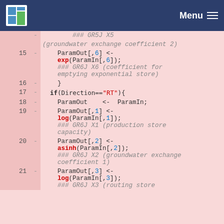Menu
[Figure (screenshot): Code diff showing R code for parameter transformation functions (GR5J/GR6J hydrology model). Lines 15-21 showing deleted lines with ParamOut assignments using exp, log, asinh functions.]